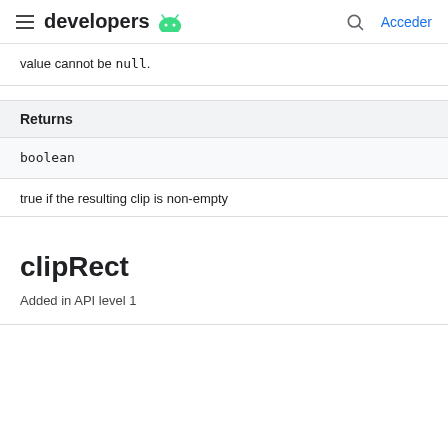developers  [Android logo]   [search icon]   Acceder
value cannot be null.
| Returns |
| --- |
| boolean |
true if the resulting clip is non-empty
clipRect
Added in API level 1